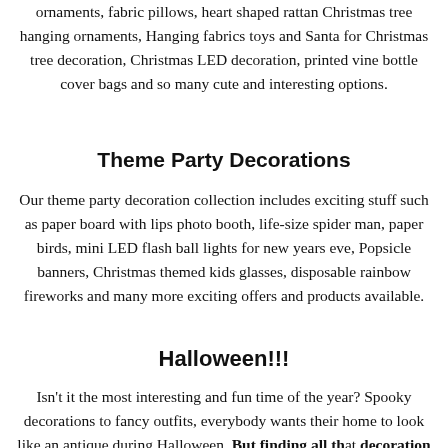ornaments, fabric pillows, heart shaped rattan Christmas tree hanging ornaments, Hanging fabrics toys and Santa for Christmas tree decoration, Christmas LED decoration, printed vine bottle cover bags and so many cute and interesting options.
Theme Party Decorations
Our theme party decoration collection includes exciting stuff such as paper board with lips photo booth, life-size spider man, paper birds, mini LED flash ball lights for new years eve, Popsicle banners, Christmas themed kids glasses, disposable rainbow fireworks and many more exciting offers and products available.
Halloween!!!
Isn't it the most interesting and fun time of the year? Spooky decorations to fancy outfits, everybody wants their home to look like an antique during Halloween. But finding all the decoration and costumes and arranging your parties, it's all